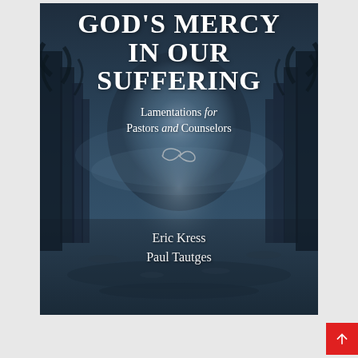[Figure (illustration): Book cover for 'God's Mercy in Our Suffering: Lamentations for Pastors and Counselors' by Eric Kress and Paul Tautges. The cover features a dark, misty forest path with blue-grey tones, bare trees on either side, and a glowing light at the end of the path. White text overlays the image with the title, subtitle, and authors' names. A decorative ornament separates the subtitle from the lower portion of the cover.]